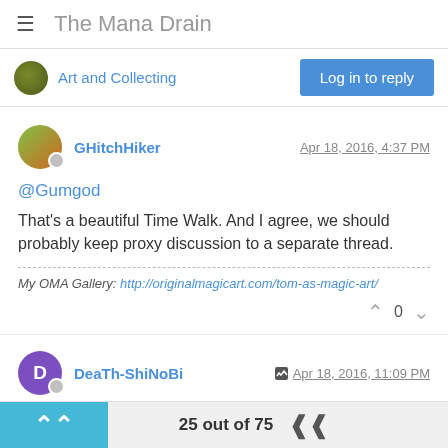The Mana Drain
Art and Collecting
Log in to reply
GHitchHiker  Apr 18, 2016, 4:37 PM
@Gumgod
That's a beautiful Time Walk. And I agree, we should probably keep proxy discussion to a separate thread.
My OMA Gallery: http://originalmagicart.com/tom-as-magic-art/
0
DeaTh-ShiNoBi  Apr 18, 2016, 11:09 PM
@Gumgod I second using alternatives to the Chinese proxies. I
25 out of 75